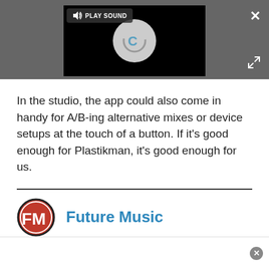[Figure (screenshot): Video player with black background showing a loading spinner circle, a 'PLAY SOUND' button with speaker icon, a close (×) button top-right, and expand arrows icon bottom-right. All set within a dark grey toolbar bar.]
In the studio, the app could also come in handy for A/B-ing alternative mixes or device setups at the touch of a button. If it's good enough for Plastikman, it's good enough for us.
[Figure (logo): Future Music logo: circular red logo with white FM letters, next to 'Future Music' text in blue.]